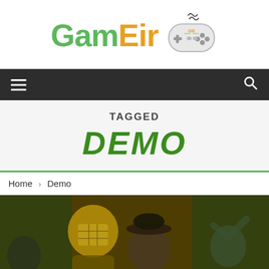[Figure (logo): GamEir logo with game controller icon - 'Gam' in green bold, 'Eir' in orange bold, with a SNES-style controller graphic to the right]
[Figure (other): Dark navigation bar with hamburger menu icon on left and search icon on right]
TAGGED
DEMO
Home > Demo
[Figure (photo): Game art image for 'SKER' showing dark fantasy characters including a figure with a diving helmet and a man in a bowler hat, with green-tinted overlay]